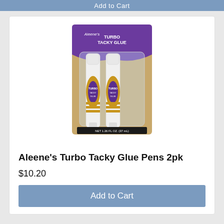Add to Cart
[Figure (photo): Two Aleene's Turbo Tacky Glue pens in blister packaging. The packaging has a tan/brown cardboard back with a purple banner at top. Two white pen-style glue applicators with gold and purple oval labels reading 'Turbo Tacky Glue'. Bottom of packaging reads 'NET 1.26 FL OZ. (37 mL)'.]
Aleene's Turbo Tacky Glue Pens 2pk
$10.20
Add to Cart